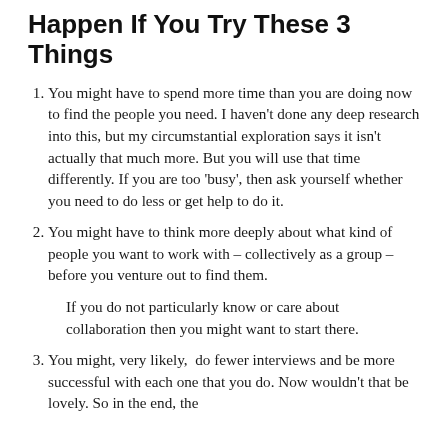Happen If You Try These 3 Things
You might have to spend more time than you are doing now to find the people you need. I haven't done any deep research into this, but my circumstantial exploration says it isn't actually that much more. But you will use that time differently. If you are too 'busy', then ask yourself whether you need to do less or get help to do it.
You might have to think more deeply about what kind of people you want to work with – collectively as a group – before you venture out to find them.
If you do not particularly know or care about collaboration then you might want to start there.
You might, very likely,  do fewer interviews and be more successful with each one that you do. Now wouldn't that be lovely. So in the end, the